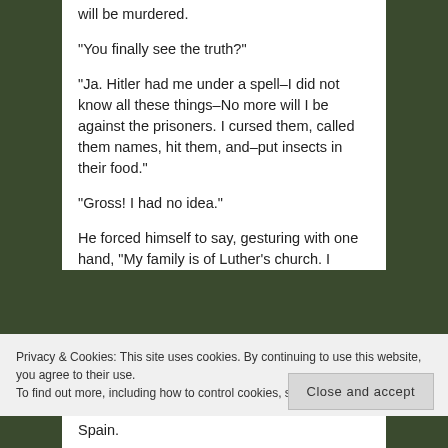will be murdered.
“You finally see the truth?”
“Ja.  Hitler had me under a spell–I did not know all these things–No more will I be against the prisoners.  I cursed them, called them names, hit them, and–put insects in their food.”
“Gross!  I had no idea.”
He forced himself to say, gesturing with one hand, “My family is of Luther’s church.  I
Privacy & Cookies: This site uses cookies. By continuing to use this website, you agree to their use.
To find out more, including how to control cookies, see here: Cookie Policy
Close and accept
Spain.